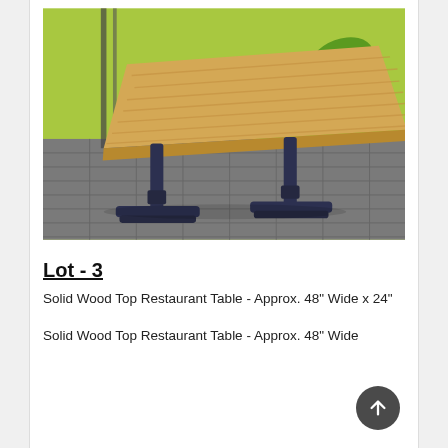[Figure (photo): A solid wood top restaurant table with a light natural wood surface and two dark navy/black pedestal-style metal bases, photographed on a grey tile floor in front of a bright green wall.]
Lot - 3
Solid Wood Top Restaurant Table - Approx. 48" Wide x 24"
Solid Wood Top Restaurant Table - Approx. 48" Wide